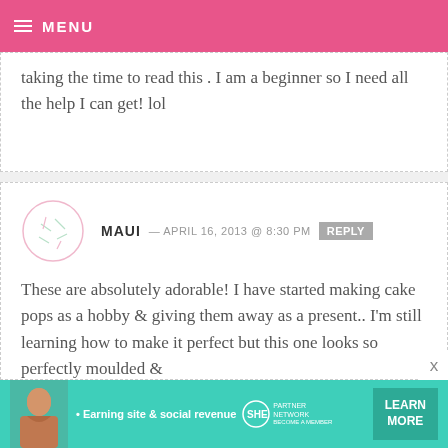MENU
taking the time to read this . I am a beginner so I need all the help I can get! lol
MAUI — APRIL 16, 2013 @ 8:30 PM REPLY
These are absolutely adorable! I have started making cake pops as a hobby & giving them away as a present.. I'm still learning how to make it perfect but this one looks so perfectly moulded &
[Figure (infographic): Advertisement banner for SHE Partner Network with tagline 'Earning site & social revenue', LEARN MORE button, and woman photo]